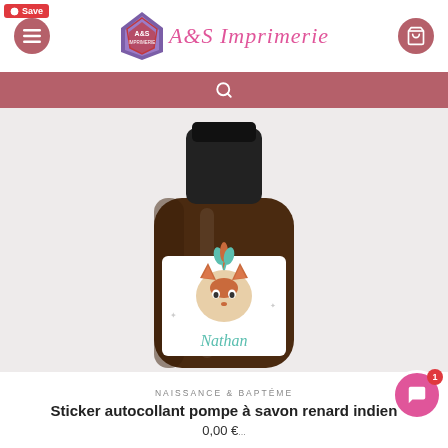A&S Imprimerie
[Figure (photo): A dark amber glass pump bottle with a white label showing a cartoon Indian fox with feathers and the name 'Nathan' in cursive teal script]
NAISSANCE & BAPTÉME
Sticker autocollant pompe à savon renard indien